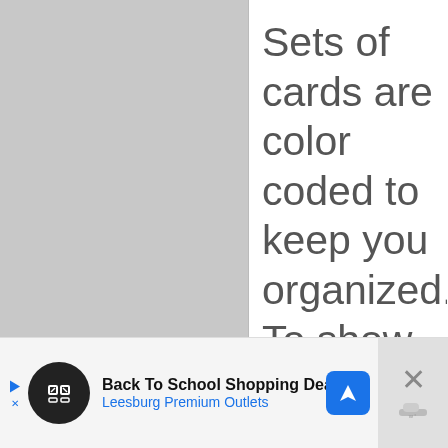Sets of cards are color coded to keep you organized. To show which set they worked on, students will color the small star at
[Figure (infographic): Advertisement banner at the bottom of the page for 'Back To School Shopping Deals' at Leesburg Premium Outlets, with a circular icon, navigation arrow icon, close button and weather widget icon.]